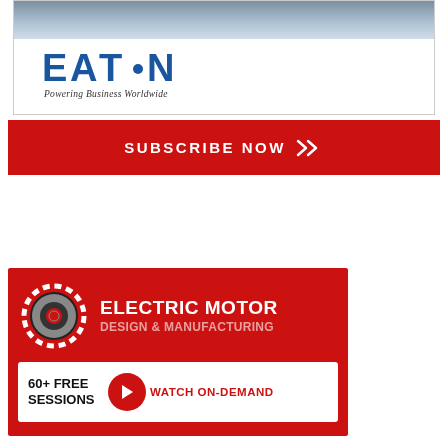[Figure (logo): Eaton logo with text 'Powering Business Worldwide' inside a bordered box with a photo at the top]
[Figure (infographic): Red subscribe now banner with chevron arrows]
[Figure (infographic): Red Electric Motor Design & Manufacturing advertisement banner with gear icon and 60+ Free Sessions Watch On-Demand button]